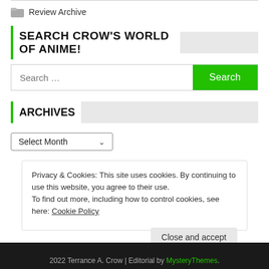Review Archive
SEARCH CROW'S WORLD OF ANIME!
[Figure (screenshot): Search input bar with placeholder text 'Search ...' and a green 'Search' button]
ARCHIVES
Select Month
Privacy & Cookies: This site uses cookies. By continuing to use this website, you agree to their use. To find out more, including how to control cookies, see here: Cookie Policy
Close and accept
2022 Terrance A. Crow | Editorial by MysteryThemes.